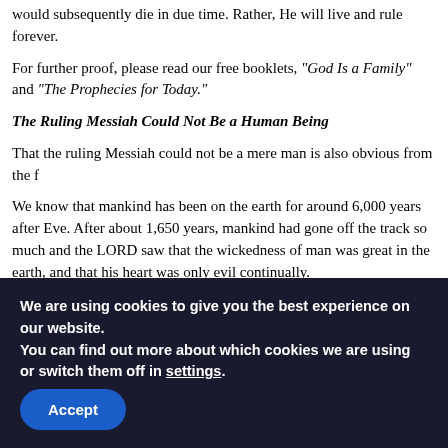would subsequently die in due time. Rather, He will live and rule forever.
For further proof, please read our free booklets, “God Is a Family” and “The Prophecies for Today.”
The Ruling Messiah Could Not Be a Human Being
That the ruling Messiah could not be a mere man is also obvious from the f
We know that mankind has been on the earth for around 6,000 years after Eve. After about 1,650 years, mankind had gone off the track so much and the LORD saw that the wickedness of man was great in the earth, and that his heart was only evil continually.
“And the LORD was sorry that He had made man on the earth, and He was LORD said, ‘I will destroy man whom I have created from the face of the ea creeping thing and birds of the air, for I am sorry that I have made them.’ B of the LORD” (Genesis 6:5–8).
We are using cookies to give you the best experience on our website.
You can find out more about which cookies we are using or switch them off in settings.
Accept